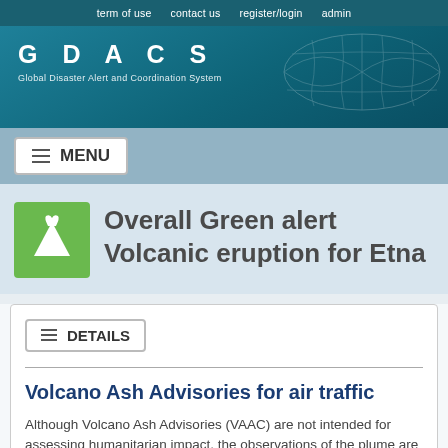term of use   contact us   register/login   admin
[Figure (logo): GDACS - Global Disaster Alert and Coordination System logo with world map background]
Overall Green alert Volcanic eruption for Etna
DETAILS
Volcano Ash Advisories for air traffic
Although Volcano Ash Advisories (VAAC) are not intended for assessing humanitarian impact, the observations of the plume are relevant for